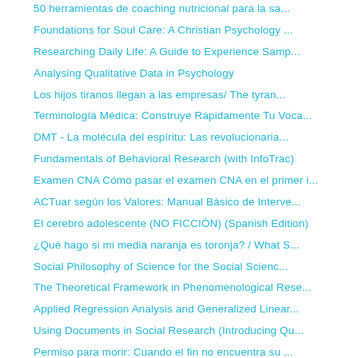50 herramientas de coaching nutricional para la sa...
Foundations for Soul Care: A Christian Psychology ...
Researching Daily Life: A Guide to Experience Samp...
Analysing Qualitative Data in Psychology
Los hijos tiranos llegan a las empresas/ The tyran...
Terminología Médica: Construye Rápidamente Tu Voca...
DMT - La molécula del espíritu: Las revolucionaria...
Fundamentals of Behavioral Research (with InfoTrac)
Examen CNA Cómo pasar el examen CNA en el primer i...
ACTuar según los Valores: Manual Básico de Interve...
El cerebro adolescente (NO FICCIÓN) (Spanish Edition)
¿Qué hago si mi media naranja es toronja? / What S...
Social Philosophy of Science for the Social Scienc...
The Theoretical Framework in Phenomenological Rese...
Applied Regression Analysis and Generalized Linear...
Using Documents in Social Research (Introducing Qu...
Permiso para morir: Cuando el fin no encuentra su ...
Psicoterapia centrada en el cliente (Psicología Ps...
El código de la vida [The Code Breaker]: Jennifer...